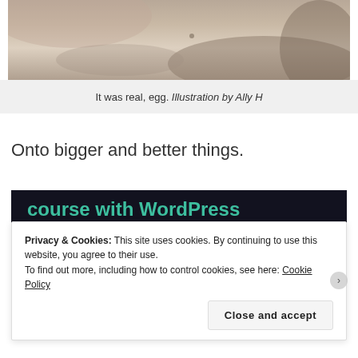[Figure (photo): Close-up photo of skin/egg texture, light brownish tones]
It was real, egg. Illustration by Ally H
Onto bigger and better things.
[Figure (screenshot): Dark blue/black ad banner with teal text 'course with WordPress' and a teal Learn More button]
Privacy & Cookies: This site uses cookies. By continuing to use this website, you agree to their use.
To find out more, including how to control cookies, see here: Cookie Policy
Close and accept